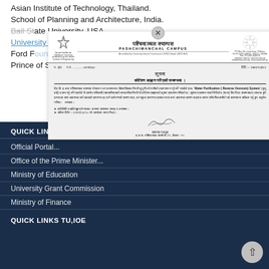Asian Institute of Technology, Thailand.
School of Planning and Architecture, India.
Ball State University, USA.
University of Colorado, Boulder, Colorado, USA.
Ford Foundation, ...
Prince of Songkla University, Thailand.
[Figure (other): Scanned letter/notice from Pashchimanchal Campus (Tribhuvan University, Institute of Engineering) in Nepali language, dated 2029/02/02, regarding quotation submission for Water Purification (Reverse Osmosis) System, signed by Campus Chief]
QUICK LINKS NEPAL GOV
Official Portal...
Office of the Prime Minister...
Ministry of Education
University Grant Commission
Ministry of Finance
QUICK LINKS TU,IOE